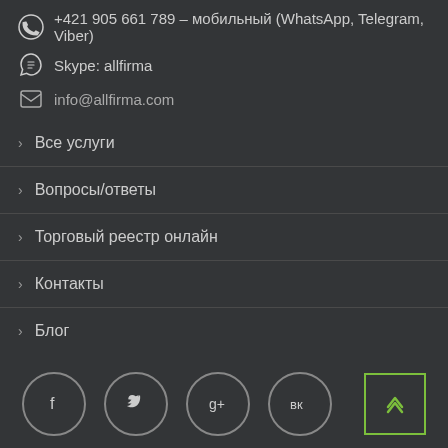+421 905 661 789 – мобильный (WhatsApp, Telegram, Viber)
Skype: allfirma
info@allfirma.com
Все услуги
Вопросы/ответы
Торговый реестр онлайн
Контакты
Блог
[Figure (other): Social media buttons: Facebook, Twitter, Google+, VK circles, and a back-to-top button with green border]
О Компании